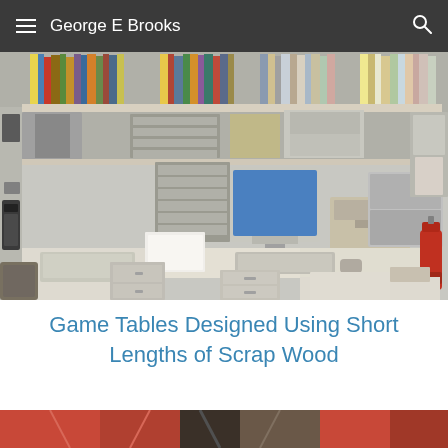George E Brooks
[Figure (photo): Corner desk workspace with computer monitor, keyboard, scanner, printer, filing cabinets, shelves full of books and binders, and a fire extinguisher on the right side.]
Game Tables Designed Using Short Lengths of Scrap Wood
[Figure (photo): Partial view of what appears to be a wooden game table, cropped at the bottom of the page.]